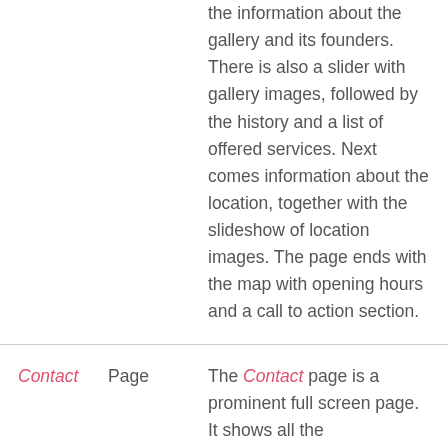the information about the gallery and its founders. There is also a slider with gallery images, followed by the history and a list of offered services. Next comes information about the location, together with the slideshow of location images. The page ends with the map with opening hours and a call to action section.
Contact Page The Contact page is a prominent full screen page. It shows all the